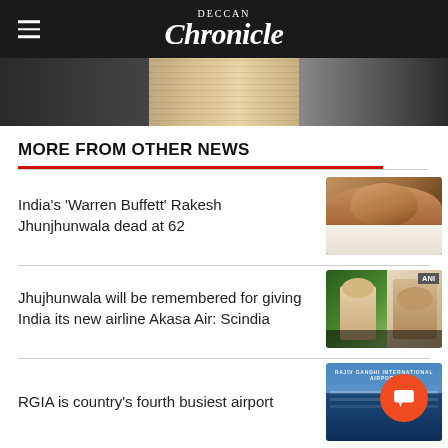Deccan Chronicle
[Figure (photo): Banner image showing old newspaper pages]
MORE FROM OTHER NEWS
India's 'Warren Buffett' Rakesh Jhunjhunwala dead at 62
[Figure (photo): Photo of Rakesh Jhunjhunwala]
Jhujhunwala will be remembered for giving India its new airline Akasa Air: Scindia
[Figure (photo): ANI photo of Scindia speaking with Indian flags in background]
RGIA is country's fourth busiest airport
[Figure (photo): Rajiv Gandhi International Airport building exterior]
Apex bank tames recovery agents